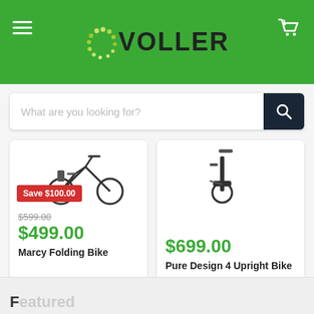[Figure (logo): Voller store logo with green dots pattern and dark bold text on green header background]
[Figure (screenshot): Search bar with placeholder text 'What are you looking for?' and dark search button with magnifying glass icon]
[Figure (photo): Marcy Folding Bike product image (partial), with red Save $100.00 badge, original price $599.00 struck through, sale price $499.00]
Save $100.00
$599.00
$499.00
Marcy Folding Bike
$699.00
Pure Design 4 Upright Bike
F...